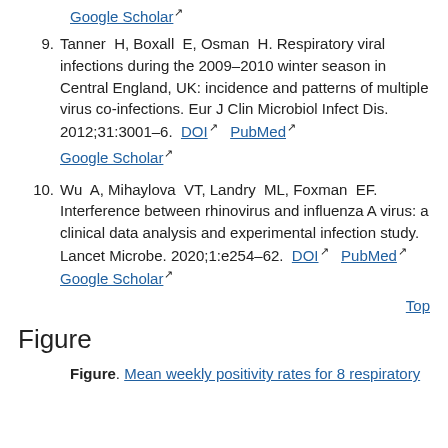Google Scholar [external link]
9. Tanner H, Boxall E, Osman H. Respiratory viral infections during the 2009–2010 winter season in Central England, UK: incidence and patterns of multiple virus co-infections. Eur J Clin Microbiol Infect Dis. 2012;31:3001–6. DOI PubMed Google Scholar
10. Wu A, Mihaylova VT, Landry ML, Foxman EF. Interference between rhinovirus and influenza A virus: a clinical data analysis and experimental infection study. Lancet Microbe. 2020;1:e254–62. DOI PubMed Google Scholar
Top
Figure
Figure. Mean weekly positivity rates for 8 respiratory